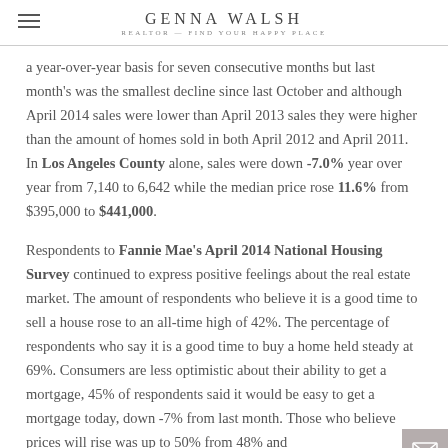GENNA WALSH REALTOR — FIND YOUR HAPPY PLACE
a year-over-year basis for seven consecutive months but last month's was the smallest decline since last October and although April 2014 sales were lower than April 2013 sales they were higher than the amount of homes sold in both April 2012 and April 2011. In Los Angeles County alone, sales were down -7.0% year over year from 7,140 to 6,642 while the median price rose 11.6% from $395,000 to $441,000.
Respondents to Fannie Mae's April 2014 National Housing Survey continued to express positive feelings about the real estate market. The amount of respondents who believe it is a good time to sell a house rose to an all-time high of 42%. The percentage of respondents who say it is a good time to buy a home held steady at 69%. Consumers are less optimistic about their ability to get a mortgage, 45% of respondents said it would be easy to get a mortgage today, down -7% from last month. Those who believe prices will rise was up to 50% from 48% and